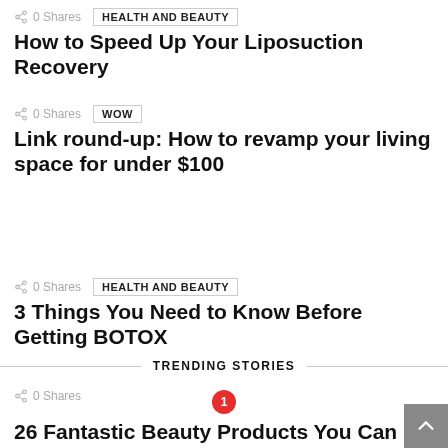0 Shares  HEALTH AND BEAUTY
How to Speed Up Your Liposuction Recovery
0 Shares  WOW
Link round-up: How to revamp your living space for under $100
0 Shares  HEALTH AND BEAUTY
3 Things You Need to Know Before Getting BOTOX
TRENDING STORIES
0 Shares  1
26 Fantastic Beauty Products You Can Subscribe